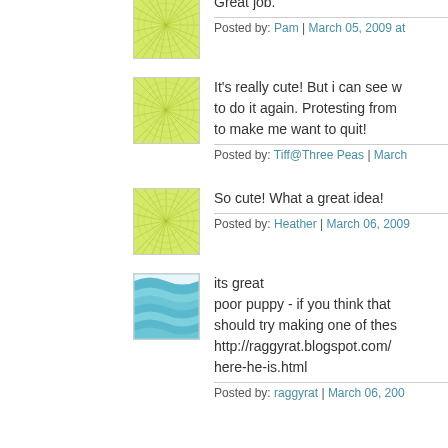Great job.
Posted by: Pam | March 05, 2009 at
It's really cute! But i can see why you don't want to do it again. Protesting from... to make me want to quit!
Posted by: Tiff@Three Peas | March
So cute! What a great idea!
Posted by: Heather | March 06, 2009
its great
poor puppy - if you think that... should try making one of these
http://raggyrat.blogspot.com/...
here-he-is.html
Posted by: raggyrat | March 06, 200